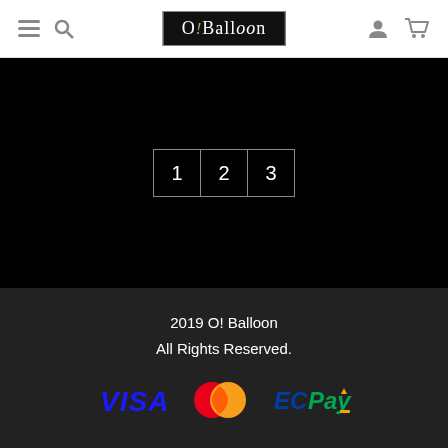[Figure (screenshot): Website header with hamburger menu icon, search icon, O!Balloon logo in black box, user icon, and cart icon]
[Figure (other): Pagination controls showing page numbers 1, 2, 3 on black background]
2019 O! Balloon
All Rights Reserved.
[Figure (logo): Payment method logos: VISA (blue), Mastercard (red/orange overlapping circles), ECPay (blue/green/orange)]